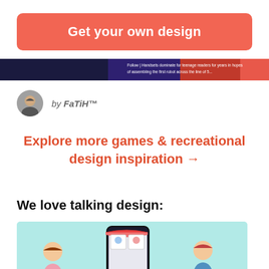Get your own design
[Figure (screenshot): Dark banner strip with text about robotic content, partially cut off at top]
by FaTiH™
Explore more games & recreational design inspiration →
We love talking design:
[Figure (illustration): Light teal background illustration showing two cartoon children with a mobile phone displaying an online shop interface]